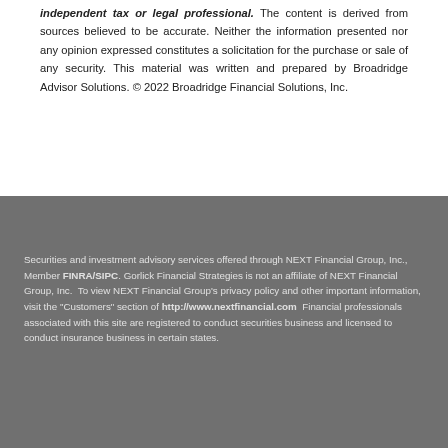independent tax or legal professional. The content is derived from sources believed to be accurate. Neither the information presented nor any opinion expressed constitutes a solicitation for the purchase or sale of any security. This material was written and prepared by Broadridge Advisor Solutions. © 2022 Broadridge Financial Solutions, Inc.
Securities and investment advisory services offered through NEXT Financial Group, Inc., Member FINRA/SIPC. Gorlick Financial Strategies is not an affiliate of NEXT Financial Group, Inc. To view NEXT Financial Group's privacy policy and other important information, visit the "Customers" section of http://www.nextfinancial.com Financial professionals associated with this site are registered to conduct securities business and licensed to conduct insurance business in certain states.